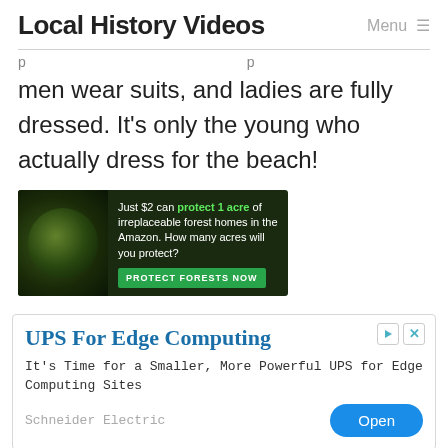Local History Videos  Menu ≡
men wear suits, and ladies are fully dressed. It's only the young who actually dress for the beach!
[Figure (other): Advertisement banner for Amazon forest protection: 'Just $2 can protect 1 acre of irreplaceable forest homes in the Amazon. How many acres will you protect?' with a PROTECT FORESTS NOW button and image of a monkey in forest]
[Figure (other): UPS For Edge Computing advertisement: 'It's Time for a Smaller, More Powerful UPS for Edge Computing Sites' by Schneider Electric with an Open button]